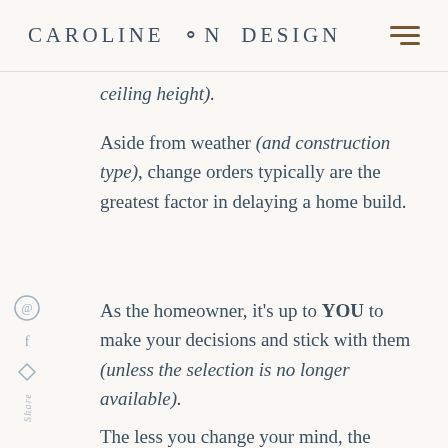CAROLINE ON DESIGN
ceiling height).
Aside from weather (and construction type), change orders typically are the greatest factor in delaying a home build.
As the homeowner, it’s up to YOU to make your decisions and stick with them (unless the selection is no longer available).
The less you change your mind, the